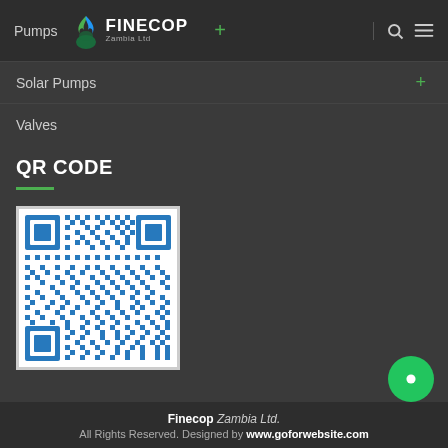Pumps | FINECOP Zambia Ltd
Solar Pumps +
Valves
QR CODE
[Figure (other): QR code image for Finecop Zambia Ltd website]
Finecop Zambia Ltd. All Rights Reserved. Designed by www.goforwebsite.com